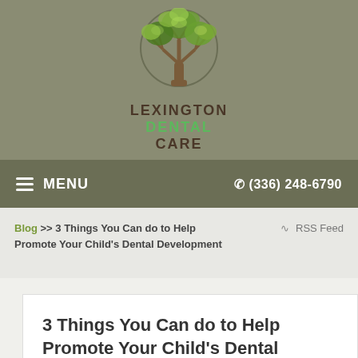[Figure (logo): Lexington Dental Care logo — a tree with green leaves inside a circle, with text LEXINGTON DENTAL CARE below]
≡ MENU   ☎ (336) 248-6790
Blog >> 3 Things You Can do to Help Promote Your Child's Dental Development     ᗙ RSS Feed
3 Things You Can do to Help Promote Your Child's Dental Development